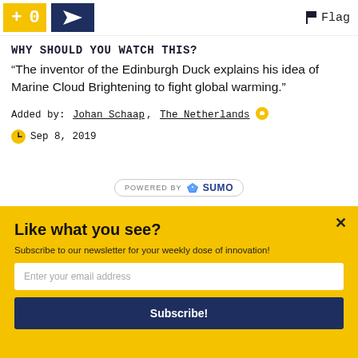Flag
WHY SHOULD YOU WATCH THIS?
“The inventor of the Edinburgh Duck explains his idea of Marine Cloud Brightening to fight global warming.”
Added by: Johan Schaap, The Netherlands
Sep 8, 2019
[Figure (logo): Powered by SUMO badge]
Like what you see?
Subscribe to our newsletter for your weekly dose of innovation!
Enter your email address
Subscribe!